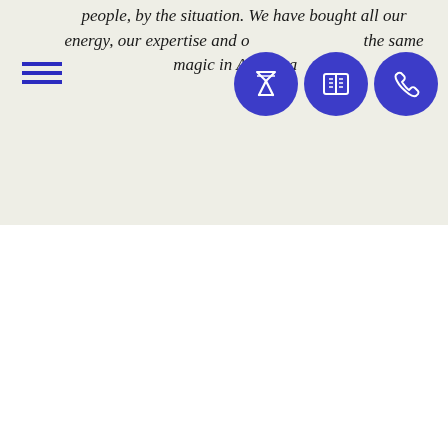people, by the situation. We have bought all our energy, our expertise and our passion to create the same magic in Abu Dhabi.
[Figure (infographic): Three purple circular icon buttons: a martini glass/cocktails icon, an open book/menu icon, and a phone icon. Plus a hamburger menu icon (three blue lines) on the left.]
[Figure (infographic): Instagram section with a rounded square Instagram icon on the left, text 'OUR INSTAGRAM FEED AT' in bold caps, and 'CAFEMILANOAE' in blue bold caps below.]